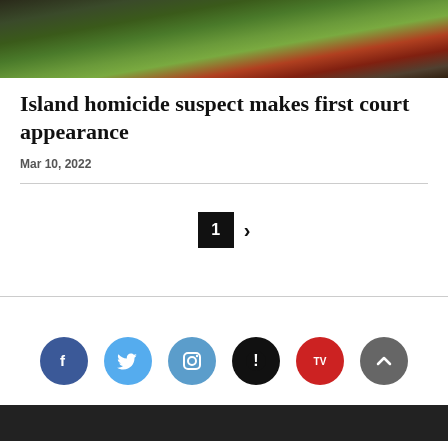[Figure (photo): Outdoor photo showing stairs with railing and green and red shrubs/bushes]
Island homicide suspect makes first court appearance
Mar 10, 2022
[Figure (infographic): Pagination controls: active page 1 button and next arrow]
[Figure (infographic): Social media icons row: Facebook, Twitter, Instagram, Alert/News, TV, scroll-to-top button]